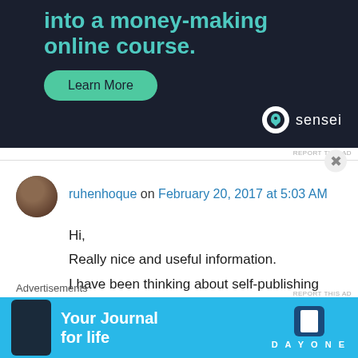[Figure (screenshot): Dark navy advertisement banner for 'sensei' online course platform. Shows teal text 'into a money-making online course.' with a teal rounded 'Learn More' button, and the sensei logo (white circle with tree icon and 'sensei' text) in the bottom right.]
REPORT THIS AD
ruhenhoque on February 20, 2017 at 5:03 AM
Hi,
Really nice and useful information.
I have been thinking about self-publishing lately, however I do ideally want to be traditionally
Advertisements
[Figure (screenshot): Blue advertisement banner for Day One journal app showing a phone mockup on the left, bold white text 'Your Journal for life' and the Day One logo (dark blue bookmark icon) on the right.]
REPORT THIS AD